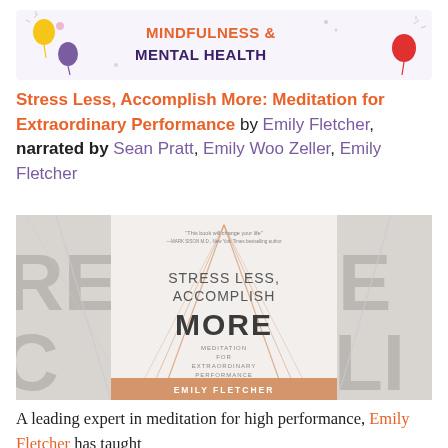[Figure (illustration): Mindfulness & Mental Health banner with colorful balloons and fireworks decorations on a light background]
Stress Less, Accomplish More: Meditation for Extraordinary Performance by Emily Fletcher, narrated by Sean Pratt, Emily Woo Zeller, Emily Fletcher
[Figure (photo): Book cover of Stress Less, Accomplish More: Meditation for Extraordinary Performance by Emily Fletcher, showing large gray letters in the background and the book title prominently displayed with an orange geometric design]
A leading expert in meditation for high performance, Emily Fletcher has taught